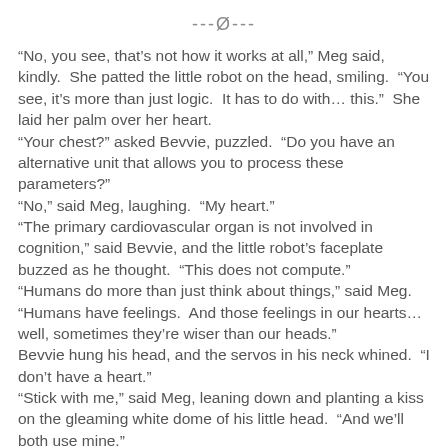---Ø---
“No, you see, that’s not how it works at all,” Meg said, kindly.  She patted the little robot on the head, smiling.  “You see, it’s more than just logic.  It has to do with… this.”  She laid her palm over her heart.
“Your chest?” asked Bevvie, puzzled.  “Do you have an alternative unit that allows you to process these parameters?”
“No,” said Meg, laughing.  “My heart.”
“The primary cardiovascular organ is not involved in cognition,” said Bevvie, and the little robot’s faceplate buzzed as he thought.  “This does not compute.”
“Humans do more than just think about things,” said Meg.  “Humans have feelings.  And those feelings in our hearts… well, sometimes they’re wiser than our heads.”
Bevvie hung his head, and the servos in his neck whined.  “I don’t have a heart.”
“Stick with me,” said Meg, leaning down and planting a kiss on the gleaming white dome of his little head.  “And we’ll both use mine.”